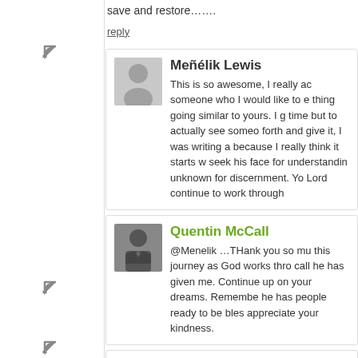save and restore…….
reply
Meñélik Lewis
This is so awesome, I really ac someone who I would like to e thing going similar to yours. I g time but to actually see someo forth and give it, I was writing a because I really think it starts w seek his face for understandin unknown for discernment. Yo Lord continue to work through
Quentin McCall
@Menelik …THank you so mu this journey as God works thro call he has given me. Continue up on your dreams. Remembe he has people ready to be bles appreciate your kindness.
missmax
Women don't always have the